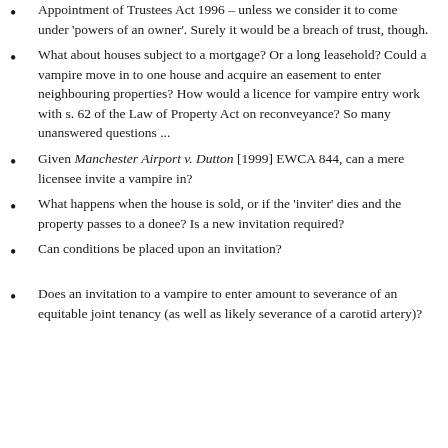Appointment of Trustees Act 1996 – unless we consider it to come under 'powers of an owner'. Surely it would be a breach of trust, though.
What about houses subject to a mortgage? Or a long leasehold? Could a vampire move in to one house and acquire an easement to enter neighbouring properties? How would a licence for vampire entry work with s. 62 of the Law of Property Act on reconveyance? So many unanswered questions ...
Given Manchester Airport v. Dutton [1999] EWCA 844, can a mere licensee invite a vampire in?
What happens when the house is sold, or if the 'inviter' dies and the property passes to a donee? Is a new invitation required?
Can conditions be placed upon an invitation?
Does an invitation to a vampire to enter amount to severance of an equitable joint tenancy (as well as likely severance of a carotid artery)?